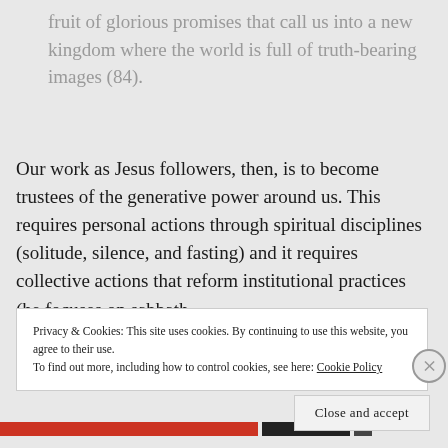fruit of glorious promises that call us into a new kingdom where the world is full of truth-bearing images (84).
Our work as Jesus followers, then, is to become trustees of the generative power around us. This requires personal actions through spiritual disciplines (solitude, silence, and fasting) and it requires collective actions that reform institutional practices (he focuses on sabbath,
Privacy & Cookies: This site uses cookies. By continuing to use this website, you agree to their use.
To find out more, including how to control cookies, see here: Cookie Policy
Close and accept